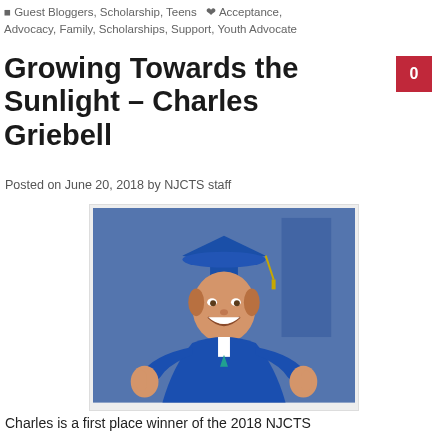Guest Bloggers, Scholarship, Teens   Acceptance, Advocacy, Family, Scholarships, Support, Youth Advocate
Growing Towards the Sunlight – Charles Griebell
Posted on June 20, 2018 by NJCTS staff
[Figure (photo): Young man in blue graduation cap and gown giving two thumbs up, smiling at the camera]
Charles is a first place winner of the 2018 NJCTS Scholarship Award and a Youth Advocate of the Year.